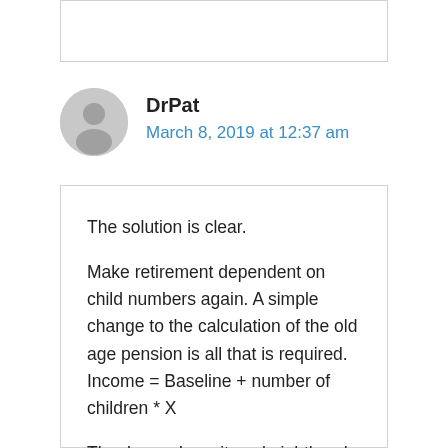DrPat
March 8, 2019 at 12:37 am
The solution is clear.

Make retirement dependent on child numbers again. A simple change to the calculation of the old age pension is all that is required.
Income = Baseline + number of children * X

Thank you, I await my knighthood